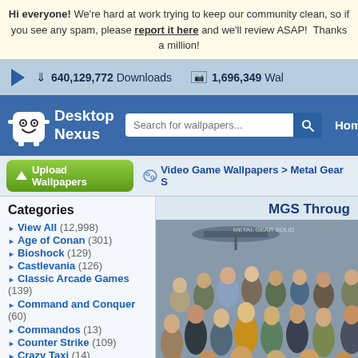Hi everyone! We're hard at work trying to keep our community clean, so if you see any spam, please report it here and we'll review ASAP! Thanks a million!
640,129,772 Downloads    1,696,349 Wal...
[Figure (screenshot): Desktop Nexus logo: white ghost-like figure with smile face]
Desktop Nexus
Search for wallpapers...
Home
Upload Wallpapers
Video Game Wallpapers > Metal Gear S...
Categories
View All (12,998)
Age of Conan (301)
Bioshock (129)
Castlevania (126)
Classic Arcade Games (139)
Command and Conquer (60)
Commandos (13)
Counter Strike (109)
Crazy Taxi (14)
Crysis (189)
Deus Ex (62)
Doom (37)
Everquest (55)
MGS Through...
[Figure (illustration): Metal Gear Solid characters group illustration - many characters crowded together in colored art style]